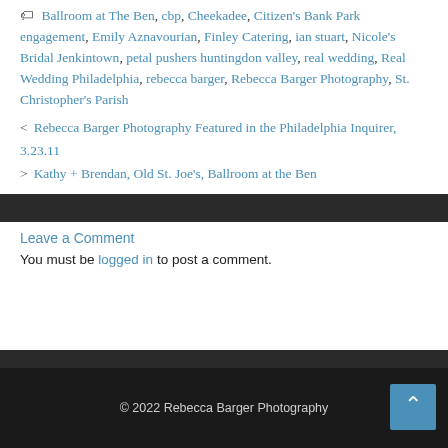Ballroom at The Ben, cbp, Cheekadee, Citizen's Bank Park engagement, Emily Aznavourian, Finley Catering, ian stuart, Nicole's Bridal Jenkintown, petal pushers huntingdon valley, real wedding, Real Wedding Philadelphia, rebecca barger, Rebecca Barger Photography, St. Christopher's Parish
< Rebecca Barger Photography Featured in the Philadelphia Inquirer, 3.23.11
> Kathy + Brendan, Old St. Joe's, Ballroom at the Ben
Leave a Comment
You must be logged in to post a comment.
© 2022 Rebecca Barger Photography